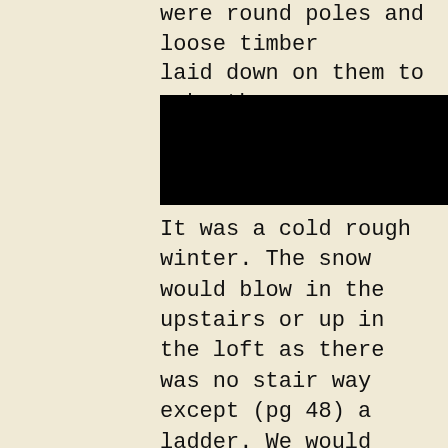were round poles and loose timber laid down on them to make the upstairs floor. There was a side room
[Figure (other): Black navigation bar with hamburger menu icon (three horizontal white lines)]
It was a cold rough winter. The snow would blow in the upstairs or up in the loft as there was no stair way except (pg 48) a ladder. We would sweep it down and carry it out . We had to carry water quite a ways up a hill. My father got quite sick that winter and my sister and I had to take a cross cut saw and cut wood. And then we would take an old mule our father had bought and hitch her to a sled and haul the wood to the house. We stayed on that place we had rented and made a crop of corn as the place my father had bought was all in woods. In the spring of that year we took the logs off a large field and planted it in corn. The corn was